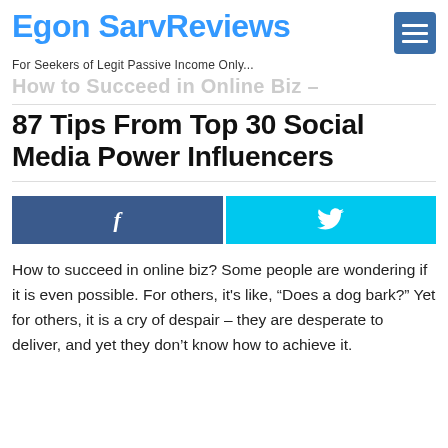Egon Sarv Reviews – For Seekers of Legit Passive Income Only...
How to Succeed in Online Biz –
87 Tips From Top 30 Social Media Power Influencers
[Figure (infographic): Two social share buttons: Facebook (dark blue with 'f') and Twitter (cyan with bird icon)]
How to succeed in online biz? Some people are wondering if it is even possible. For others, it's like, “Does a dog bark?” Yet for others, it is a cry of despair – they are desperate to deliver, and yet they don’t know how to achieve it.